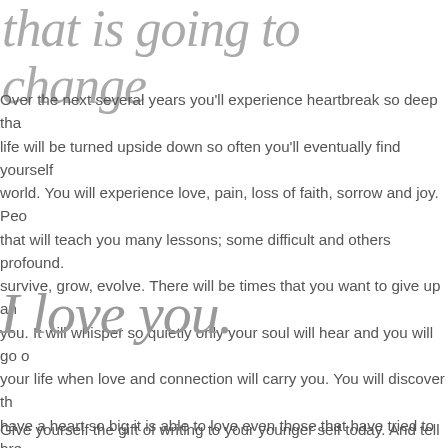that is going to change
Over the next several years you'll experience heartbreak so deep tha life will be turned upside down so often you'll eventually find yourself world. You will experience love, pain, loss of faith, sorrow and joy. Peo that will teach you many lessons; some difficult and others profound. survive, grow, evolve. There will be times that you want to give up an you. It will whisper so quietly only your soul will hear and you will go your life when love and connection will carry you. You will discover th have a heart so big it is able to love even those that have tried to bre ways that cannot be learned in books or classrooms. And you're beau
And so, dear one, celebrate this birthday. Blow out all your candles ar
I love you.
Give yourself the gift of writing to your younger self today. And tell m